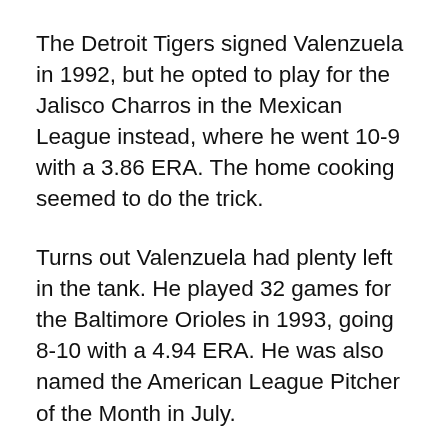The Detroit Tigers signed Valenzuela in 1992, but he opted to play for the Jalisco Charros in the Mexican League instead, where he went 10-9 with a 3.86 ERA. The home cooking seemed to do the trick.
Turns out Valenzuela had plenty left in the tank. He played 32 games for the Baltimore Orioles in 1993, going 8-10 with a 4.94 ERA. He was also named the American League Pitcher of the Month in July.
An abbreviated season with the Philadelphia Phillies followed and the passed over pitcher really hit his stride with the San Diego Padres between 1995 and 1997. Valenzuela appeared